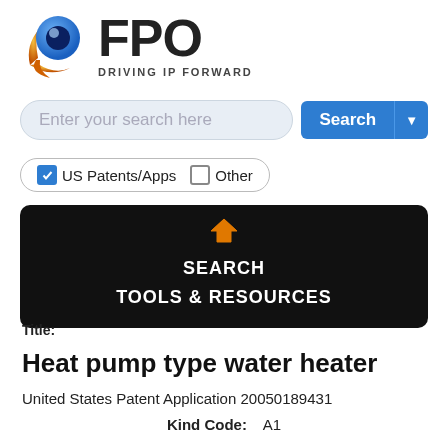[Figure (logo): FPO logo with circular blue and orange icon and text 'FPO DRIVING IP FORWARD']
Enter your search here
US Patents/Apps  Other
SEARCH
TOOLS & RESOURCES
Title:
Heat pump type water heater
United States Patent Application 20050189431
Kind Code:    A1